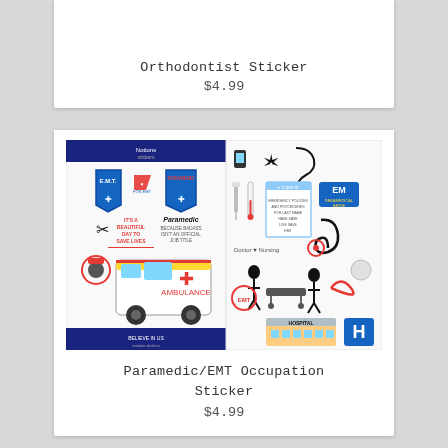Orthodontist Sticker
$4.99
[Figure (illustration): Paramedic/EMT occupation sticker sheet showing EMT and Paramedic shields, ambulance, stethoscope, medical icons, hospital building, and related medical imagery]
Paramedic/EMT Occupation Sticker
$4.99